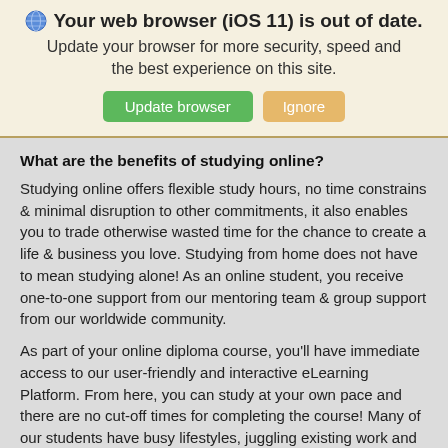🌐 Your web browser (iOS 11) is out of date.
Update your browser for more security, speed and the best experience on this site.
What are the benefits of studying online?
Studying online offers flexible study hours, no time constrains & minimal disruption to other commitments, it also enables you to trade otherwise wasted time for the chance to create a life & business you love. Studying from home does not have to mean studying alone! As an online student, you receive one-to-one support from our mentoring team & group support from our worldwide community.
As part of your online diploma course, you'll have immediate access to our user-friendly and interactive eLearning Platform. From here, you can study at your own pace and there are no cut-off times for completing the course! Many of our students have busy lifestyles, juggling existing work and family